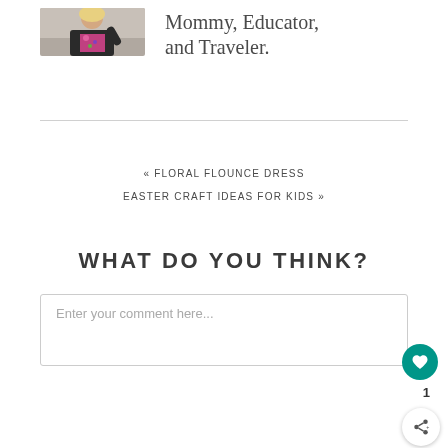[Figure (photo): Profile photo of a woman with blonde hair wearing a black jacket and floral shirt, posed with hand raised]
Mommy, Educator, and Traveler.
« FLORAL FLOUNCE DRESS
EASTER CRAFT IDEAS FOR KIDS »
WHAT DO YOU THINK?
Enter your comment here...